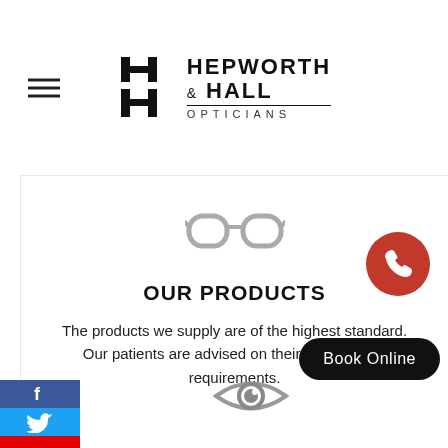HEPWORTH & HALL OPTICIANS
[Figure (illustration): Glasses/spectacles icon in grey]
OUR PRODUCTS
The products we supply are of the highest standard. Our patients are advised on their specific lens requirements.
[Figure (illustration): Eye icon in grey]